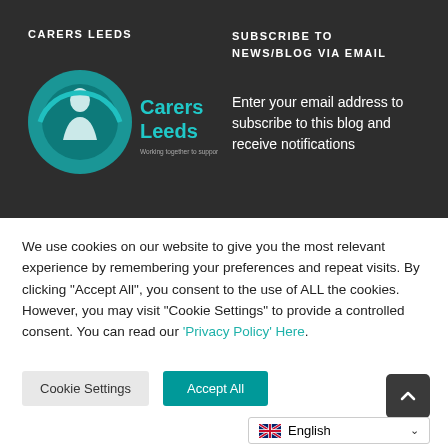CARERS LEEDS
SUBSCRIBE TO NEWS/BLOG VIA EMAIL
[Figure (logo): Carers Leeds logo — circular teal emblem with person silhouette and 'Carers Leeds' text with tagline 'Working Together to Support Carers']
Enter your email address to subscribe to this blog and receive notifications
We use cookies on our website to give you the most relevant experience by remembering your preferences and repeat visits. By clicking “Accept All”, you consent to the use of ALL the cookies. However, you may visit "Cookie Settings" to provide a controlled consent. You can read our 'Privacy Policy' Here.
Cookie Settings
Accept All
English